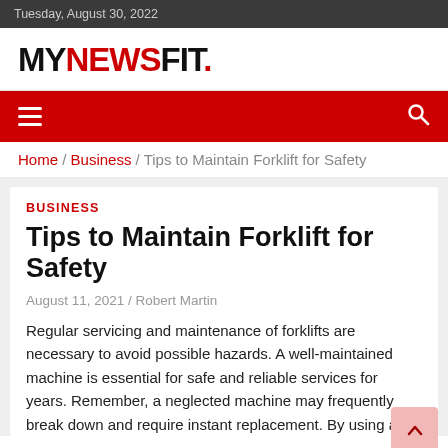Tuesday, August 30, 2022
MYNEWSFIT.
Navigation and Search bar
Home / Business / Tips to Maintain Forklift for Safety
BUSINESS
Tips to Maintain Forklift for Safety
August 11, 2021 / Robert Martin
Regular servicing and maintenance of forklifts are necessary to avoid possible hazards. A well-maintained machine is essential for safe and reliable services for years. Remember, a neglected machine may frequently break down and require instant replacement. By using a